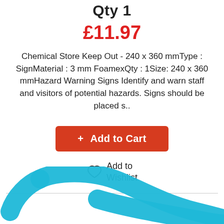Qty 1
£11.97
Chemical Store Keep Out - 240 x 360 mmType : SignMaterial : 3 mm FoamexQty : 1Size: 240 x 360 mmHazard Warning Signs Identify and warn staff and visitors of potential hazards. Signs should be placed s..
+ Add to Cart
Add to Wishlist
[Figure (logo): Partial teal/cyan swoosh logo at the bottom of the page]